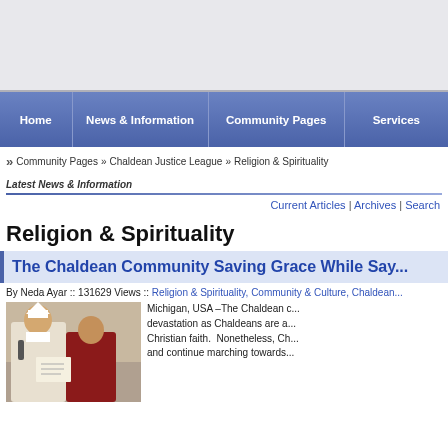[Figure (other): Advertisement banner area at top of page]
Home | News & Information | Community Pages | Services
Community Pages » Chaldean Justice League » Religion & Spirituality
Latest News & Information
Current Articles | Archives | Search
Religion & Spirituality
The Chaldean Community Saving Grace While Say...
By Neda Ayar :: 131629 Views :: Religion & Spirituality, Community & Culture, Chaldean...
[Figure (photo): Photo of clergy members, appears to show a bishop or priest speaking into a microphone alongside another person in religious garb]
Michigan, USA –The Chaldean c... devastation as Chaldeans are a... Christian faith.  Nonetheless, Ch... and continue marching towards...